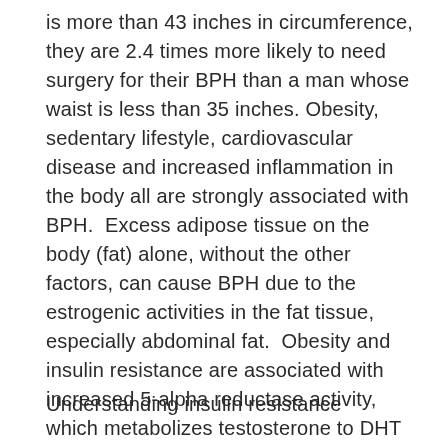is more than 43 inches in circumference, they are 2.4 times more likely to need surgery for their BPH than a man whose waist is less than 35 inches. Obesity, sedentary lifestyle, cardiovascular disease and increased inflammation in the body all are strongly associated with BPH. Excess adipose tissue on the body (fat) alone, without the other factors, can cause BPH due to the estrogenic activities in the fat tissue, especially abdominal fat. Obesity and insulin resistance are associated with increased 5-alpha reductase activity, which metabolizes testosterone to DHT and stimulates prostate growth.
Understanding insulin resistance